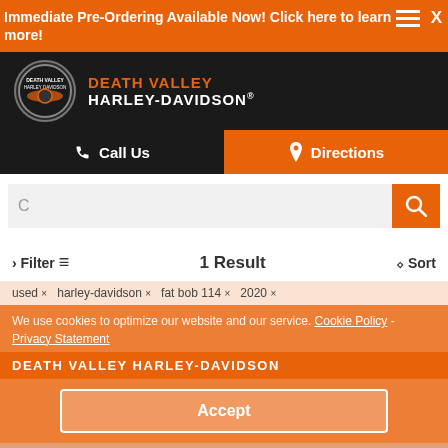Immediate Pre-Ordering Available Now! Click here to learn more!
[Figure (logo): Death Valley Harley-Davidson logo circle with motorcycle imagery]
DEATH VALLEY HARLEY-DAVIDSON®
Call Us
Directions
C
› Filter  1 Result  ⬦ Sort
used × harley-davidson × fat bob 114 × 2020 ×
We use cookies to optimize our website and our service. Cookie Policy - Privacy Statement
DEATH VALLEY HARLEY-DAVIDSON
Accept